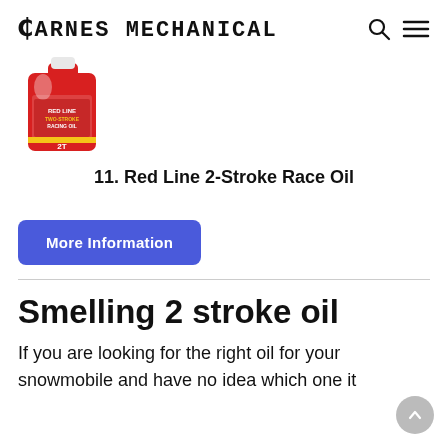CARNES MECHANICAL
[Figure (photo): Red bottle/jug of Red Line 2-Stroke Race Oil with white cap]
11. Red Line 2-Stroke Race Oil
More Information
Smelling 2 stroke oil
If you are looking for the right oil for your snowmobile and have no idea which one it